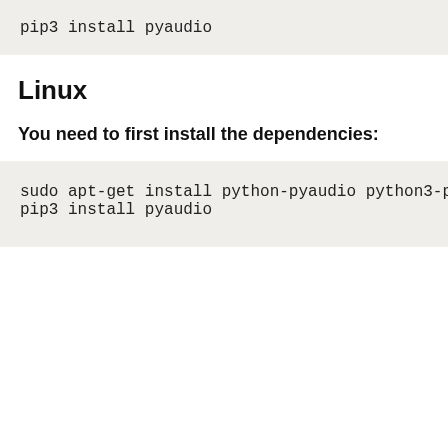pip3 install pyaudio
Linux
You need to first install the dependencies:
sudo apt-get install python-pyaudio python3-p
pip3 install pyaudio